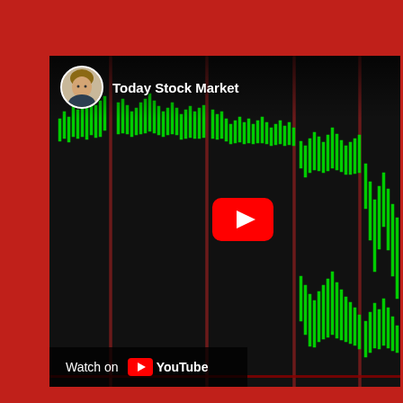[Figure (screenshot): YouTube video embed showing a stock market candlestick chart with green candles on a dark background and vertical red/maroon lines. The video thumbnail shows 'Today Stock Market' with a channel avatar of a man, a YouTube play button overlay in the center, and a 'Watch on YouTube' button at the bottom left.]